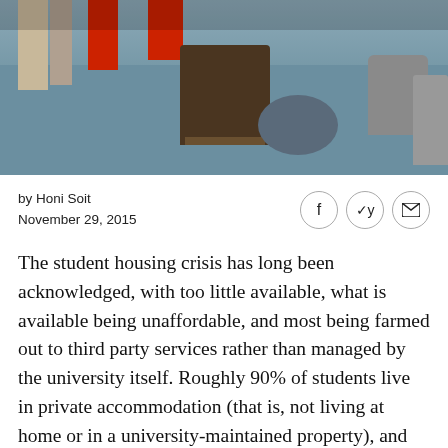[Figure (photo): Indoor room photo showing carpeted floor, dark wooden furniture in center, red decorative bars top left, person's legs visible top left, grey bean bag and chair visible on right side.]
by Honi Soit
November 29, 2015
The student housing crisis has long been acknowledged, with too little available, what is available being unaffordable, and most being farmed out to third party services rather than managed by the university itself. Roughly 90% of students live in private accommodation (that is, not living at home or in a university-maintained property), and coming up with the $375 a week to rent a UniLodge studio whilst juggling full time uni, part time jobs, and extracurriculars (mostly